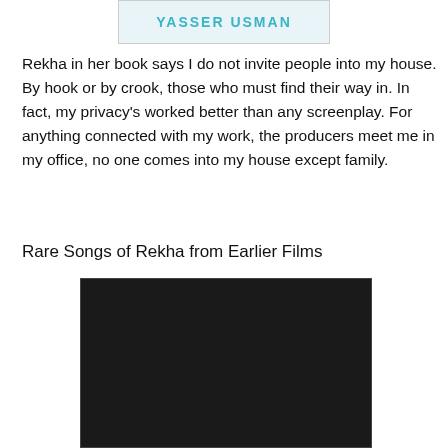[Figure (other): Book cover image showing 'YASSER USMAN' text in teal/blue color on a light background, partially cropped at top]
Rekha in her book says I do not invite people into my house. By hook or by crook, those who must find their way in. In fact, my privacy's worked better than any screenplay. For anything connected with my work, the producers meet me in my office, no one comes into my house except family.
Rare Songs of Rekha from Earlier Films
[Figure (screenshot): YouTube video embed showing 'Video unavailable' message. Text reads: 'Playback on other websites has been disabled by the video owner. Watch on YouTube.' Dark background with YouTube player controls and warning icon.]